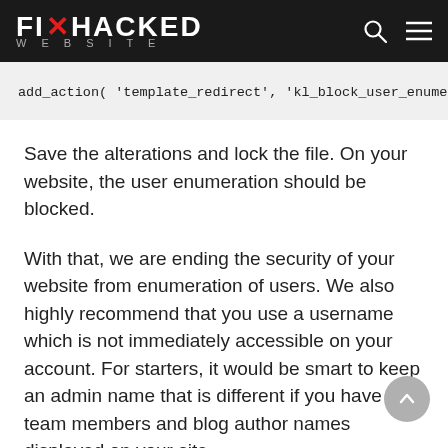FIX HACKED WEBSITE
add_action( 'template_redirect', 'kl_block_user_enumeration_a
Save the alterations and lock the file. On your website, the user enumeration should be blocked.
With that, we are ending the security of your website from enumeration of users. We also highly recommend that you use a username which is not immediately accessible on your account. For starters, it would be smart to keep an admin name that is different if you have team members and blog author names displayed on your site.
Ultimate Thoughts
By blocking WordPress website user enumeration, you reduce